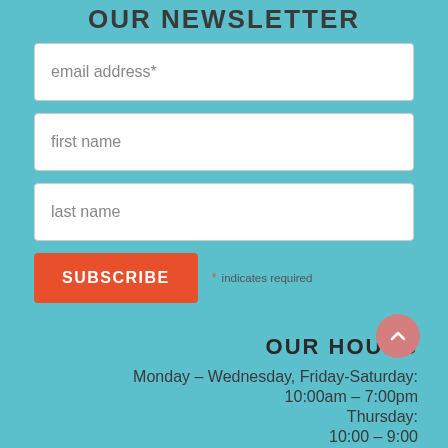OUR NEWSLETTER
email address*
first name
last name
SUBSCRIBE
* indicates required
OUR HOURS
Monday – Wednesday, Friday-Saturday:
10:00am – 7:00pm
Thursday:
10:00 – 9:00